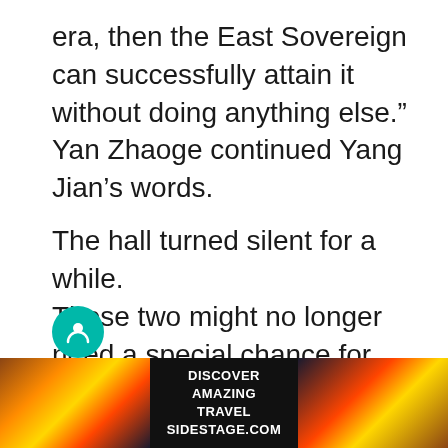era, then the East Sovereign can successfully attain it without doing anything else.” Yan Zhaoge continued Yang Jian’s words.
The hall turned silent for a while.
Those two might no longer need a special chance for transcendence.
As the ancient being in the world, they had been preparing for too long.
[Figure (photo): Advertisement banner with sunset/landscape photos on left and right, teal circle icon partially visible above banner. Text reads DISCOVER AMAZING TRAVEL SIDESTAGE.COM]